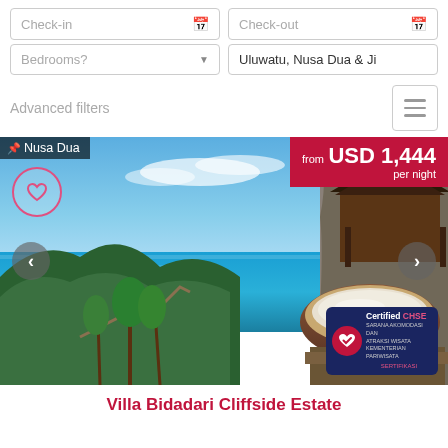Check-in
Check-out
Bedrooms?
Uluwatu, Nusa Dua & Ji
Advanced filters
[Figure (photo): Cliffside villa with ocean view, tropical trees, infinity pool/bathtub, and thatched roof structure at Nusa Dua. Priced from USD 1,444 per night.]
Villa Bidadari Cliffside Estate